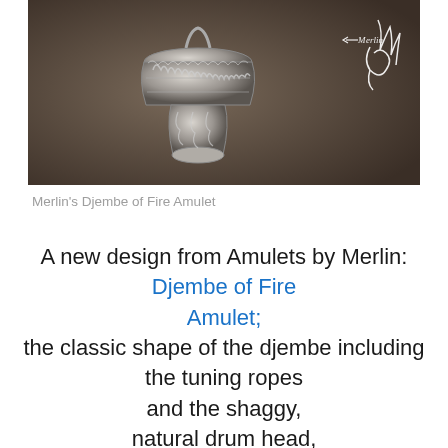[Figure (photo): Photo of Merlin's Djembe of Fire Amulet — a silver/pewter amulet shaped like a djembe drum with carved flames and rope details, on a dark brown background. A white line-art logo of Merlin's signature appears in the upper right corner of the image.]
Merlin's Djembe of Fire Amulet
A new design from Amulets by Merlin: Djembe of Fire Amulet; the classic shape of the djembe including the tuning ropes and the shaggy, natural drum head, flames lick up the front of the Drum, the hands form a tongue of flame. This amulet is one and a quarter inch tall, carved as a relief including the knots used to tune the